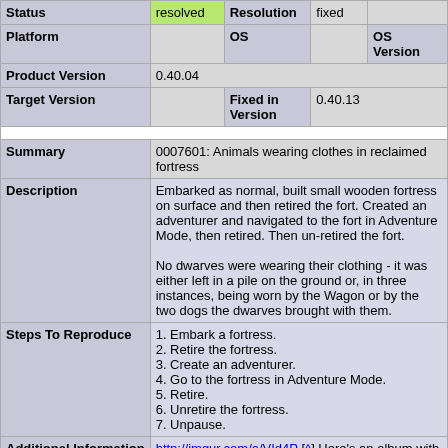| Status | resolved | Resolution | fixed |  |
| Platform |  | OS |  | OS Version |  |
| Product Version | 0.40.04 |  |  |  |  |
| Target Version |  | Fixed in Version | 0.40.13 |  |  |
| Summary | 0007601: Animals wearing clothes in reclaimed fortress |
| Description | Embarked as normal, built small wooden fortress on surface and then retired the fort. Created an adventurer and navigated to the fort in Adventure Mode, then retired. Then un-retired the fort.

No dwarves were wearing their clothing - it was either left in a pile on the ground or, in three instances, being worn by the Wagon or by the two dogs the dwarves brought with them. |
| Steps To Reproduce | 1. Embark a fortress.
2. Retire the fortress.
3. Create an adventurer.
4. Go to the fortress in Adventure Mode.
5. Retire.
6. Unretire the fortress.
7. Unpause. |
| Additional Information | http://imgur.com/a/VId4P [^] Here's an album with the clothes on the ground, or being worn by the dog.

I was in the third month of Spring. |